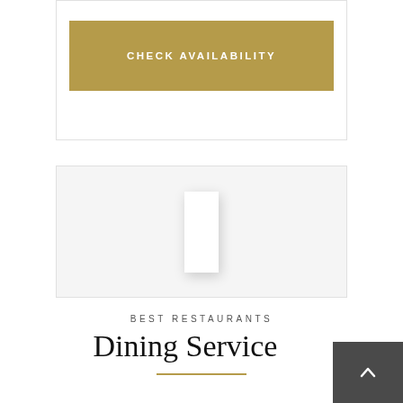[Figure (other): Button labeled CHECK AVAILABILITY with gold/tan background inside a bordered card]
[Figure (other): Bordered card with a white rectangular placeholder image in the center]
BEST RESTAURANTS
Dining Service
[Figure (other): Back to top button, dark grey with upward chevron arrow]